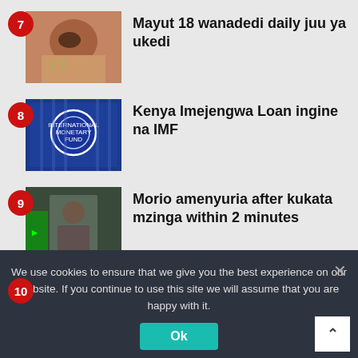7 Mayut 18 wanadedi daily juu ya ukedi
8 Kenya Imejengwa Loan ingine na IMF
9 Morio amenyuria after kukata mzinga within 2 minutes
10 Zimbabwe mangues wa ghetto wanatumia shonde ya ngombe kama sanitary
We use cookies to ensure that we give you the best experience on our website. If you continue to use this site we will assume that you are happy with it.